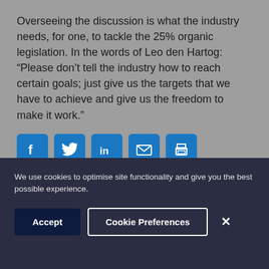Overseeing the discussion is what the industry needs, for one, to tackle the 25% organic legislation. In the words of Leo den Hartog: “Please don’t tell the industry how to reach certain goals; just give us the targets that we have to achieve and give us the freedom to make it work.”
[Figure (other): Social sharing icons: Facebook, Twitter, LinkedIn, Email, Print]
We use cookies to optimise site functionality and give you the best possible experience.
Accept | Cookie Preferences | X